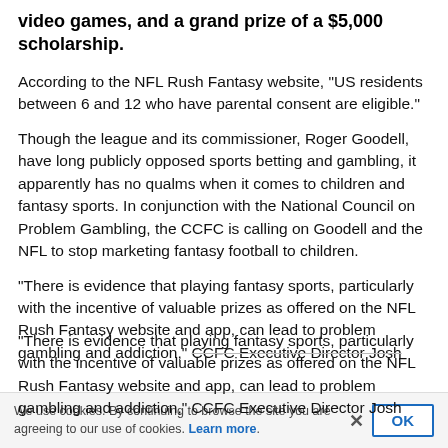video games, and a grand prize of a $5,000 scholarship.
According to the NFL Rush Fantasy website, “US residents between 6 and 12 who have parental consent are eligible.”
Though the league and its commissioner, Roger Goodell, have long publicly opposed sports betting and gambling, it apparently has no qualms when it comes to children and fantasy sports. In conjunction with the National Council on Problem Gambling, the CCFC is calling on Goodell and the NFL to stop marketing fantasy football to children.
“There is evidence that playing fantasy sports, particularly with the incentive of valuable prizes as offered on the NFL Rush Fantasy website and app, can lead to problem gambling and addiction,” CCFC Executive Director Josh
We use cookies. By continuing to browse the site you are agreeing to our use of cookies. Learn more.